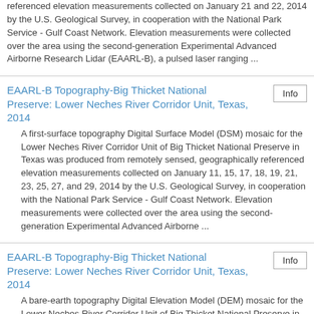referenced elevation measurements collected on January 21 and 22, 2014 by the U.S. Geological Survey, in cooperation with the National Park Service - Gulf Coast Network. Elevation measurements were collected over the area using the second-generation Experimental Advanced Airborne Research Lidar (EAARL-B), a pulsed laser ranging ...
EAARL-B Topography-Big Thicket National Preserve: Lower Neches River Corridor Unit, Texas, 2014
A first-surface topography Digital Surface Model (DSM) mosaic for the Lower Neches River Corridor Unit of Big Thicket National Preserve in Texas was produced from remotely sensed, geographically referenced elevation measurements collected on January 11, 15, 17, 18, 19, 21, 23, 25, 27, and 29, 2014 by the U.S. Geological Survey, in cooperation with the National Park Service - Gulf Coast Network. Elevation measurements were collected over the area using the second-generation Experimental Advanced Airborne ...
EAARL-B Topography-Big Thicket National Preserve: Lower Neches River Corridor Unit, Texas, 2014
A bare-earth topography Digital Elevation Model (DEM) mosaic for the Lower Neches River Corridor Unit of Big Thicket National Preserve in Texas was produced from remotely sensed, geographically referenced elevation measurements collected on January 11, 15, 17, 18, 19, 21, 23, 25, 27, and 29,